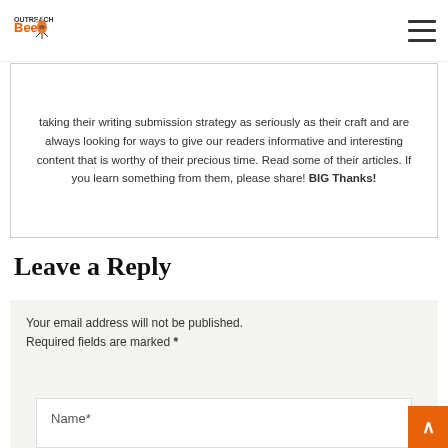Outreach Bee
taking their writing submission strategy as seriously as their craft and are always looking for ways to give our readers informative and interesting content that is worthy of their precious time. Read some of their articles. If you learn something from them, please share! BIG Thanks!
Leave a Reply
Your email address will not be published. Required fields are marked *
Name*